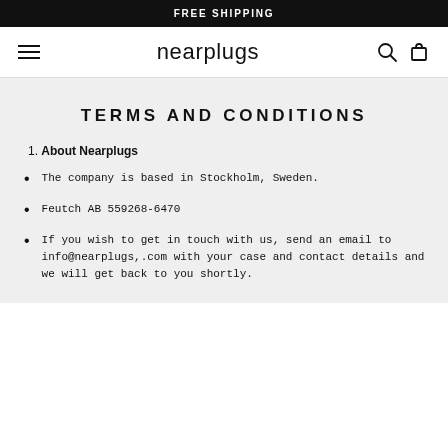FREE SHIPPING
[Figure (logo): Nearplugs logo with hamburger menu, search icon, and cart icon navigation bar]
TERMS AND CONDITIONS
1. About Nearplugs
The company is based in Stockholm, Sweden.
Feutch AB 559268-6470
If you wish to get in touch with us, send an email to info@nearplugs,.com with your case and contact details and we will get back to you shortly.